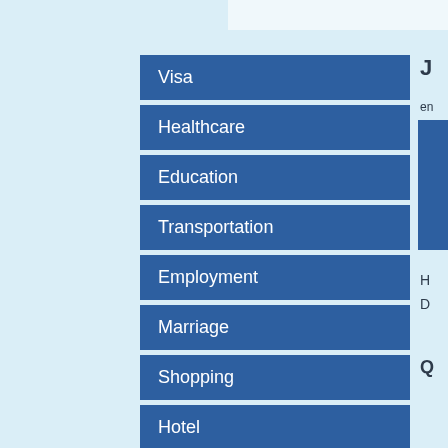Visa
Healthcare
Education
Transportation
Employment
Marriage
Shopping
Hotel
Useful Info
J
en
H
D
Q